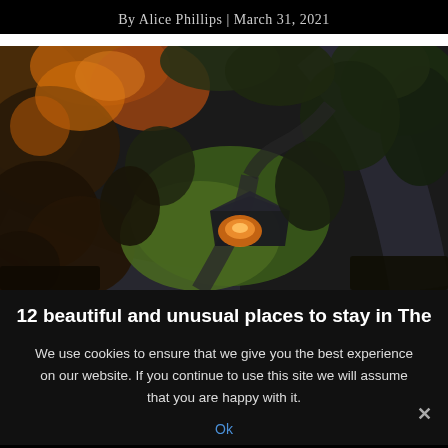By Alice Phillips | March 31, 2021
[Figure (photo): Aerial drone photograph of a remote cabin or house surrounded by dense autumn forest with orange and dark green trees, green grass clearing, and a dark river or road curving around it]
12 beautiful and unusual places to stay in The
We use cookies to ensure that we give you the best experience on our website. If you continue to use this site we will assume that you are happy with it.
Ok